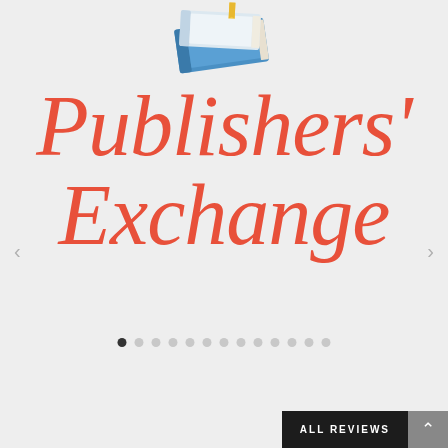[Figure (illustration): Stack of books illustration/emoji — two books stacked, blue and white covers with a yellow bookmark ribbon, shown from a slight angle]
Publishers' Exchange
[Figure (other): Carousel navigation dots — 13 dots in a row, first dot is dark/active, remaining 12 are light gray]
ALL REVIEWS